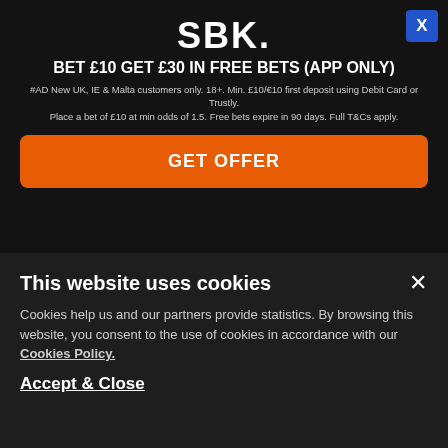[Figure (screenshot): SBK betting advertisement modal with logo, headline 'BET £10 GET £30 IN FREE BETS (APP ONLY)', terms, and orange GET OFFER button on dark background]
Viborg vs. West Ham Betting Tips: Best bets for the Hammers' trip to Denmark
BY ANTHONY EADSON
24th August 2022
[Figure (photo): Dark photo strip at bottom, partial sports image visible]
This website uses cookies
Cookies help us and our partners provide statistics. By browsing this website, you consent to the use of cookies in accordance with our Cookies Policy.
Accept & Close